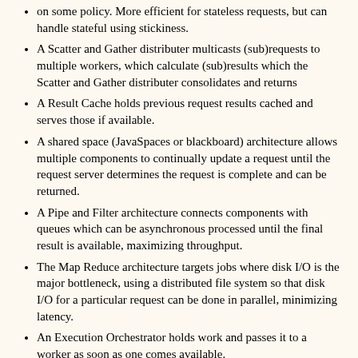on some policy. More efficient for stateless requests, but can handle stateful using stickiness.
A Scatter and Gather distributer multicasts (sub)requests to multiple workers, which calculate (sub)results which the Scatter and Gather distributer consolidates and returns
A Result Cache holds previous request results cached and serves those if available.
A shared space (JavaSpaces or blackboard) architecture allows multiple components to continually update a request until the request server determines the request is complete and can be returned.
A Pipe and Filter architecture connects components with queues which can be asynchronous processed until the final result is available, maximizing throughput.
The Map Reduce architecture targets jobs where disk I/O is the major bottleneck, using a distributed file system so that disk I/O for a particular request can be done in parallel, minimizing latency.
An Execution Orchestrator holds work and passes it to a worker as soon as one comes available.
http://www.javaspecialists.eu/archive/Issue187.html
Cost of Causing Exceptions (Page last updated August 2010, Added 2010-10-28, Author Dr. Heinz M. Kabutz, Publisher The Java Specialists' Newsletter). Tips: